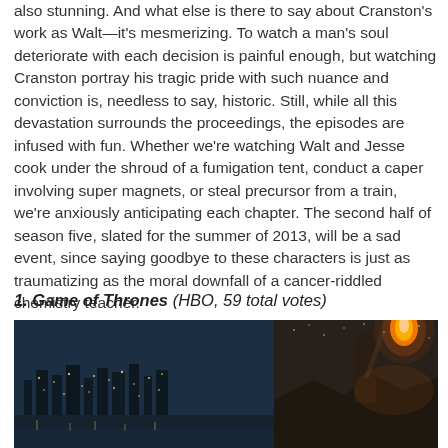also stunning. And what else is there to say about Cranston's work as Walt—it's mesmerizing. To watch a man's soul deteriorate with each decision is painful enough, but watching Cranston portray his tragic pride with such nuance and conviction is, needless to say, historic. Still, while all this devastation surrounds the proceedings, the episodes are infused with fun. Whether we're watching Walt and Jesse cook under the shroud of a fumigation tent, conduct a caper involving super magnets, or steal precursor from a train, we're anxiously anticipating each chapter. The second half of season five, slated for the summer of 2013, will be a sad event, since saying goodbye to these characters is just as traumatizing as the moral downfall of a cancer-riddled chemistry teacher.
1. Game of Thrones (HBO, 59 total votes)
[Figure (photo): Dark night scene from Game of Thrones showing a warrior figure holding a flaming torch/weapon on the right side, with a city with lights visible in the background on the left side.]